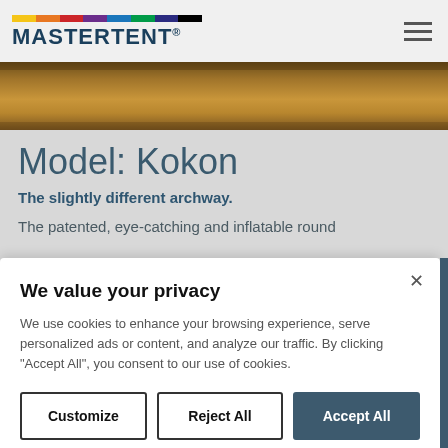MASTERTENT.
[Figure (photo): A strip of golden-brown dry grass or wheat field, used as a hero banner image.]
Model: Kokon
The slightly different archway.
The patented, eye-catching and inflatable round
We value your privacy

We use cookies to enhance your browsing experience, serve personalized ads or content, and analyze our traffic. By clicking "Accept All", you consent to our use of cookies.